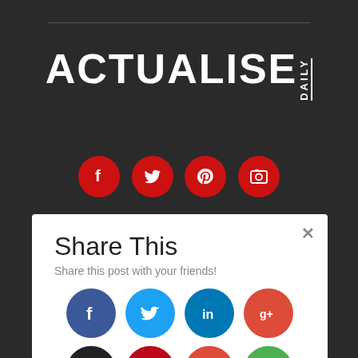[Figure (logo): Actualise Daily logo in white bold text on dark background with social media icons (Facebook, Twitter, Pinterest, Instagram) in red circles below]
Phone: 1300 - 356 - 977
[Figure (screenshot): Share This modal overlay with title 'Share This', subtitle 'Share this post with your friends!', and 8 social share buttons: Facebook (blue), Twitter (light blue), LinkedIn (blue), Google+ (red), Buffer (black), Pinterest (red), Email (red), Print (green)]